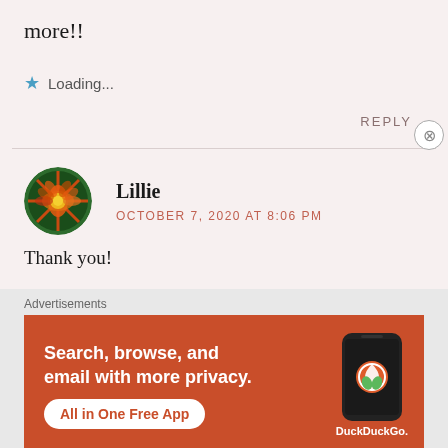more!!
★ Loading...
REPLY
Lillie
OCTOBER 7, 2020 AT 8:06 PM
Thank you!
Advertisements
[Figure (screenshot): DuckDuckGo advertisement banner with orange background. Text reads: Search, browse, and email with more privacy. All in One Free App. Shows a phone mockup with DuckDuckGo logo and text.]